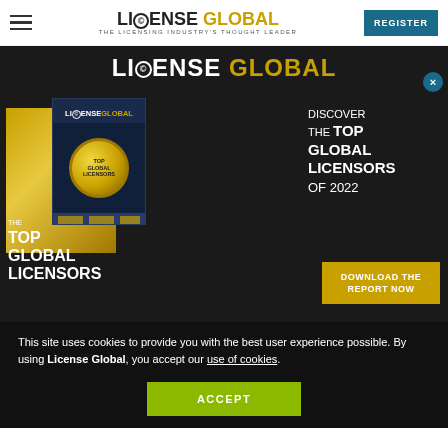LICENSE GLOBAL | THE LICENSING INDUSTRY'S THOUGHT LEADER | REGISTER
[Figure (infographic): License Global advertisement banner showing Top Global Licensors of 2022. Dark background with gold accents, magazine cover image, text 'DISCOVER THE TOP GLOBAL LICENSORS OF 2022' and 'DOWNLOAD THE REPORT NOW' button.]
This site uses cookies to provide you with the best user experience possible. By using License Global, you accept our use of cookies.
ACCEPT